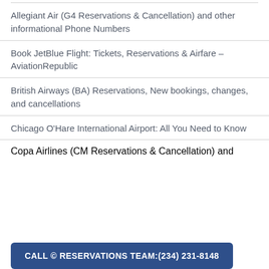Allegiant Air (G4 Reservations & Cancellation) and other informational Phone Numbers
Book JetBlue Flight: Tickets, Reservations & Airfare – AviationRepublic
British Airways (BA) Reservations, New bookings, changes, and cancellations
Chicago O'Hare International Airport: All You Need to Know
Copa Airlines (CM Reservations & Cancellation) and
CALL © RESERVATIONS TEAM:(234) 231-8148